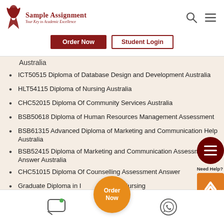Sample Assignment — Your Key to Academic Excellence
Australia
ICT50515 Diploma of Database Design and Development Australia
HLT54115 Diploma of Nursing Australia
CHC52015 Diploma Of Community Services Australia
BSB50618 Diploma of Human Resources Management Assessment
BSB61315 Advanced Diploma of Marketing and Communication Help Australia
BSB52415 Diploma of Marketing and Communication Assessment Answer Australia
CHC51015 Diploma Of Counselling Assessment Answer
Graduate Diploma in Intensive Care Nursing
Order Now | Chat | WhatsApp